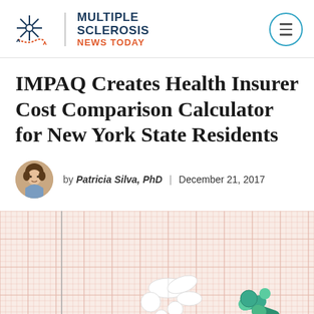Multiple Sclerosis News Today
IMPAQ Creates Health Insurer Cost Comparison Calculator for New York State Residents
by Patricia Silva, PhD | December 21, 2017
[Figure (photo): Photo of pills and capsules (white tablets and green/teal capsules) arranged on a pink graph paper background.]